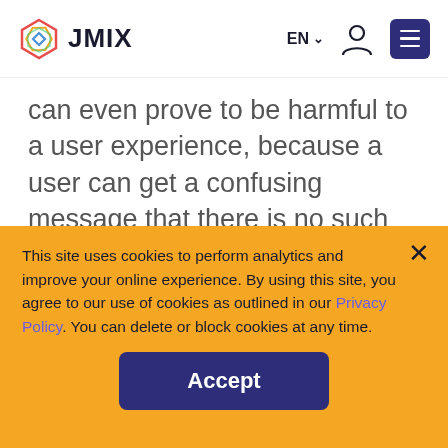JMIX | EN | [user icon] [menu icon]
can even prove to be harmful to a user experience, because a user can get a confusing message that there is no such resource, although the resource exists, but for some reasons became inaccessible to the user.
This site uses cookies to perform analytics and improve your online experience. By using this site, you agree to our use of cookies as outlined in our Privacy Policy. You can delete or block cookies at any time.